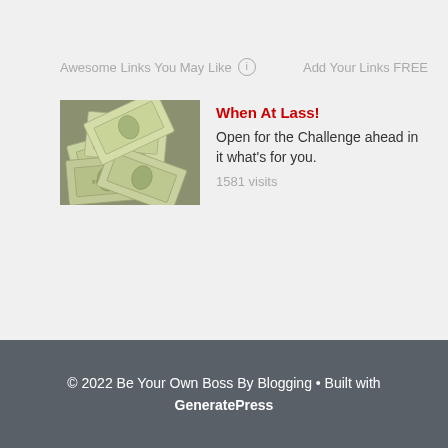Awesome Links You May Like ⓘ   Add Your Links FREE
[Figure (photo): Pile of US dollar bills, money thumbnail]
When At Lass!
Open for the Challenge ahead in it what's for you.
1581 visits
[Figure (photo): Gold/yellow background with person peeking and text about SEO, purple rectangle border overlay, SEO thumbnail]
Dominate Your Competition
Using our unique and proprietary ranking techniques.
32 visits
© 2022 Be Your Own Boss By Blogging • Built with GeneratePress